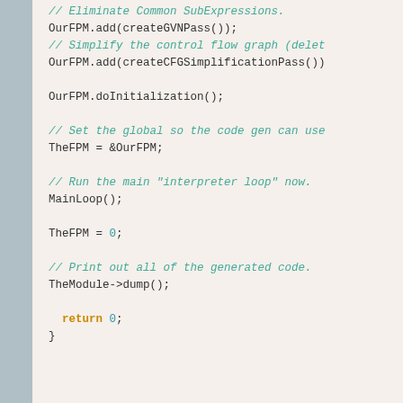[Figure (screenshot): Code snippet showing C++ code with comments and function calls: OurFPM.add(createGVNPass()), OurFPM.add(createCFGSimplificationPass()), OurFPM.doInitialization(), TheFPM = &OurFPM, MainLoop(), TheFPM = 0, TheModule->dump(), return 0, closing brace. Comments in green italic, keywords in orange, numbers in teal.]
Next: Extending the language: control flow
LLVM Home | Documentation » LLVM Tutorial: Table of
© Copyright 2003-2013.